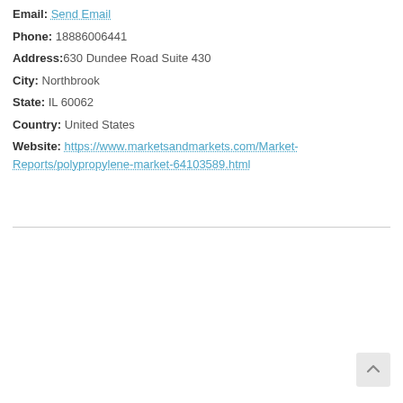Email: Send Email
Phone: 18886006441
Address: 630 Dundee Road Suite 430
City: Northbrook
State: IL 60062
Country: United States
Website: https://www.marketsandmarkets.com/Market-Reports/polypropylene-market-64103589.html